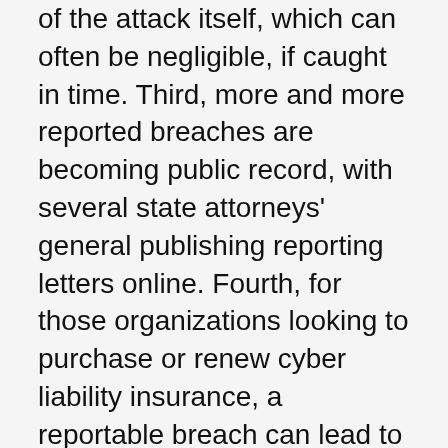of the attack itself, which can often be negligible, if caught in time. Third, more and more reported breaches are becoming public record, with several state attorneys' general publishing reporting letters online. Fourth, for those organizations looking to purchase or renew cyber liability insurance, a reportable breach can lead to increased premiums and decreased coverage.
To address these risks, a little bit of filtration can go a long way. User education is the best initial filter to apply, helping remove some of the reportable information from your e-mail environment. Mailbox size restrictions, automatic archiving, and data retention and destruction policies are low-tech tools that can immediately reduce risk in relation to a future phishing attack. It is true that the majority of phishing attacks are not interested in the personal data contained within corporate e-mail accounts, with syncing happening automatically because of the